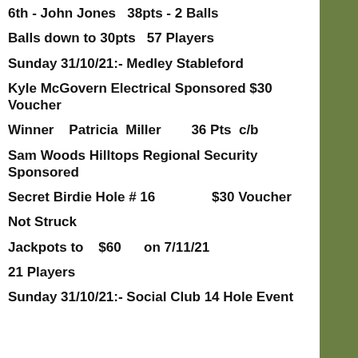6th - John Jones   38pts - 2 Balls
Balls down to 30pts   57 Players
Sunday 31/10/21:- Medley Stableford
Kyle McGovern Electrical Sponsored $30 Voucher
Winner    Patricia  Miller        36 Pts  c/b
Sam Woods Hilltops Regional Security Sponsored
Secret Birdie Hole # 16                $30 Voucher
Not Struck
Jackpots to    $60       on 7/11/21
21 Players
Sunday 31/10/21:- Social Club 14 Hole Event